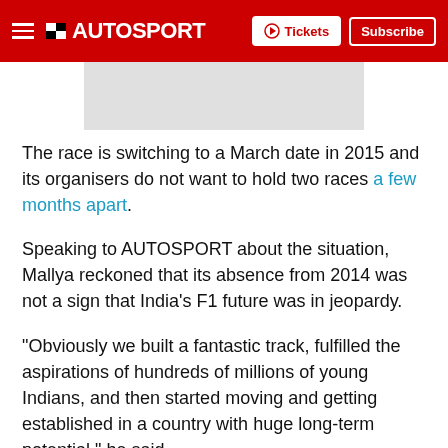AUTOSPORT — Tickets | Subscribe
[Figure (photo): Gray placeholder image area below header]
The race is switching to a March date in 2015 and its organisers do not want to hold two races a few months apart.
Speaking to AUTOSPORT about the situation, Mallya reckoned that its absence from 2014 was not a sign that India's F1 future was in jeopardy.
"Obviously we built a fantastic track, fulfilled the aspirations of hundreds of millions of young Indians, and then started moving and getting established in a country with huge long-term potential," he said.
"So to miss a year for whatever reason is obviously disappointing. Racing schedules are obviously important, but whether a country as important as